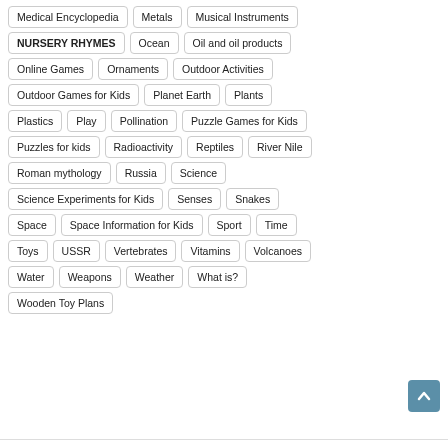Medical Encyclopedia
Metals
Musical Instruments
NURSERY RHYMES
Ocean
Oil and oil products
Online Games
Ornaments
Outdoor Activities
Outdoor Games for Kids
Planet Earth
Plants
Plastics
Play
Pollination
Puzzle Games for Kids
Puzzles for kids
Radioactivity
Reptiles
River Nile
Roman mythology
Russia
Science
Science Experiments for Kids
Senses
Snakes
Space
Space Information for Kids
Sport
Time
Toys
USSR
Vertebrates
Vitamins
Volcanoes
Water
Weapons
Weather
What is?
Wooden Toy Plans